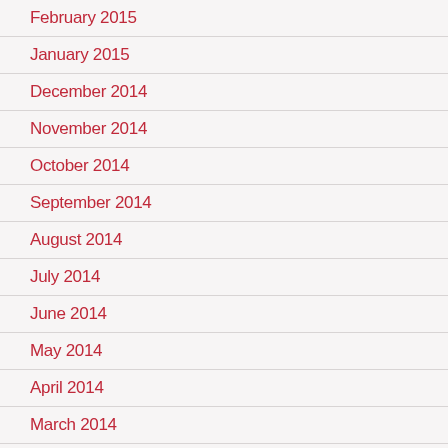February 2015
January 2015
December 2014
November 2014
October 2014
September 2014
August 2014
July 2014
June 2014
May 2014
April 2014
March 2014
February 2014
January 2014
December 2013
November 2013
October 2013